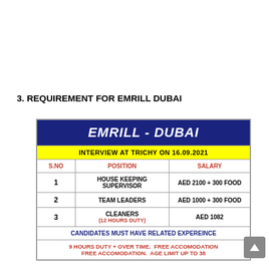3. REQUIREMENT FOR EMRILL DUBAI
| S.NO | POSITION | SALARY |
| --- | --- | --- |
| 1 | HOUSE KEEPING SUPERVISOR | AED 2100 + 300 FOOD |
| 2 | TEAM LEADERS | AED 1000 + 300 FOOD |
| 3 | CLEANERS (12 HOURS DUTY) | AED 1082 |